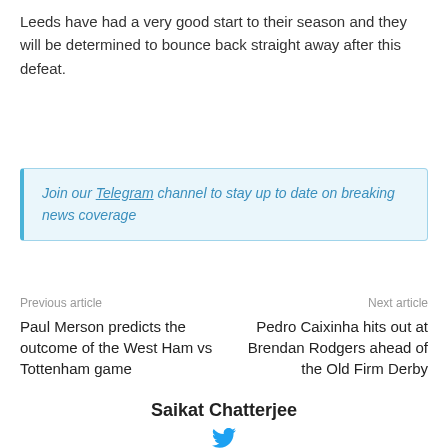Leeds have had a very good start to their season and they will be determined to bounce back straight away after this defeat.
Join our Telegram channel to stay up to date on breaking news coverage
Previous article
Next article
Paul Merson predicts the outcome of the West Ham vs Tottenham game
Pedro Caixinha hits out at Brendan Rodgers ahead of the Old Firm Derby
Saikat Chatterjee